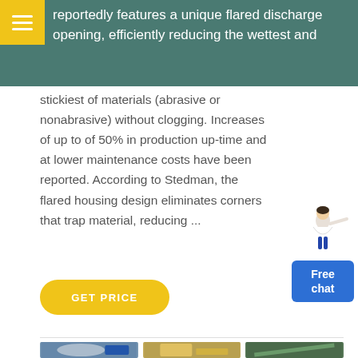reportedly features a unique flared discharge opening, efficiently reducing the wettest and
stickiest of materials (abrasive or nonabrasive) without clogging. Increases of up to of 50% in production up-time and at lower maintenance costs have been reported. According to Stedman, the flared housing design eliminates corners that trap material, reducing ...
[Figure (illustration): Free chat widget with person illustration and blue button labeled Free chat]
[Figure (photo): Three industrial machinery photos: ball mill, crusher/conveyor equipment, and conveyor belt system]